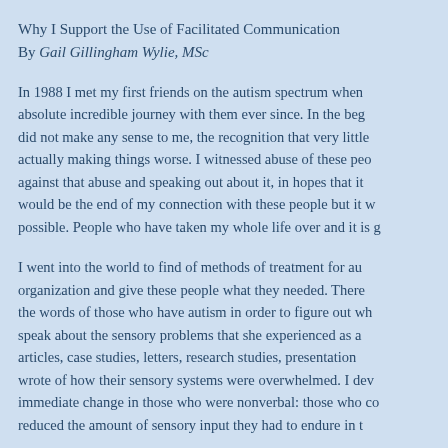Why I Support the Use of Facilitated Communication
By Gail Gillingham Wylie, MSc
In 1988 I met my first friends on the autism spectrum when absolute incredible journey with them ever since. In the beg did not make any sense to me, the recognition that very little actually making things worse. I witnessed abuse of these peo against that abuse and speaking out about it, in hopes that it would be the end of my connection with these people but it w possible. People who have taken my whole life over and it is g
I went into the world to find of methods of treatment for au organization and give these people what they needed. There the words of those who have autism in order to figure out wh speak about the sensory problems that she experienced as a articles, case studies, letters, research studies, presentation wrote of how their sensory systems were overwhelmed. I dev immediate change in those who were nonverbal: those who co reduced the amount of sensory input they had to endure in t